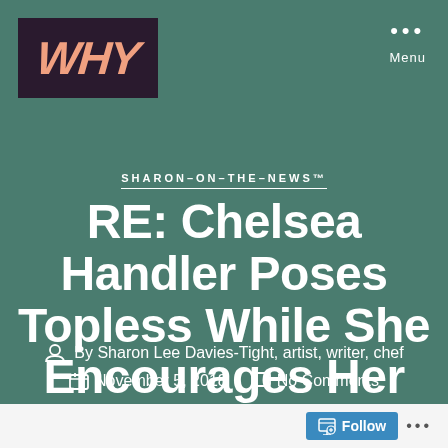[Figure (logo): WHY blog logo — white stylized text on dark purple/maroon background]
Menu
SHARON-ON-THE-NEWS™
RE: Chelsea Handler Poses Topless While She Encourages Her Followers to Vote
By Sharon Lee Davies-Tight, artist, writer, chef
November 5, 2018   No Comments
Follow